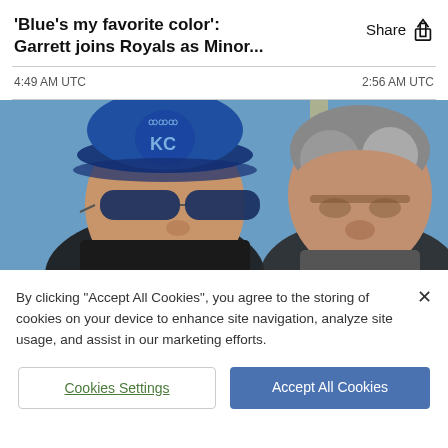'Blue's my favorite color': Garrett joins Royals as Minor...
4:49 AM UTC
2:56 AM UTC
[Figure (photo): Two men outdoors under a blue sky. The man on the left wears a blue Kansas City Royals KC baseball cap and sunglasses. The man on the right has short gray hair and is looking downward.]
By clicking "Accept All Cookies", you agree to the storing of cookies on your device to enhance site navigation, analyze site usage, and assist in our marketing efforts.
Cookies Settings
Accept All Cookies